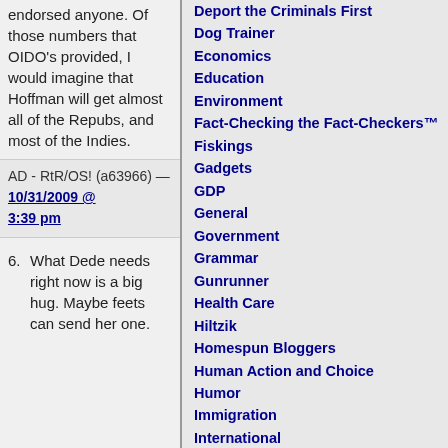endorsed anyone. Of those numbers that OIDO's provided, I would imagine that Hoffman will get almost all of the Repubs, and most of the Indies.
AD - RtR/OS! (a63966) — 10/31/2009 @ 3:39 pm
6. What Dede needs right now is a big hug. Maybe feets can send her one.
Deport the Criminals First
Dog Trainer
Economics
Education
Environment
Fact-Checking the Fact-Checkers™
Fiskings
Gadgets
GDP
General
Government
Grammar
Gunrunner
Health Care
Hiltzik
Homespun Bloggers
Human Action and Choice
Humor
Immigration
International
Judiciary
Kozinski
Law
Lunatics
Media Bias
Miscellaneous
Morons
Movies
Music
Music by Patterico
Nadia Naffe
Nature
Neal Rauhauser